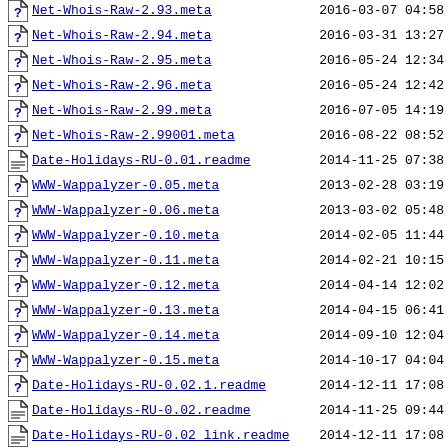Net-Whois-Raw-2.93.meta  2016-03-07 04:58
Net-Whois-Raw-2.94.meta  2016-03-31 13:27
Net-Whois-Raw-2.95.meta  2016-05-24 12:34
Net-Whois-Raw-2.96.meta  2016-05-24 12:42
Net-Whois-Raw-2.99.meta  2016-07-05 14:19
Net-Whois-Raw-2.99001.meta  2016-08-22 08:52
Date-Holidays-RU-0.01.readme  2014-11-25 07:38
WWW-Wappalyzer-0.05.meta  2013-02-28 03:19
WWW-Wappalyzer-0.06.meta  2013-03-02 05:48
WWW-Wappalyzer-0.10.meta  2014-02-05 11:44
WWW-Wappalyzer-0.11.meta  2014-02-21 10:15
WWW-Wappalyzer-0.12.meta  2014-04-14 12:02
WWW-Wappalyzer-0.13.meta  2014-04-15 06:41
WWW-Wappalyzer-0.14.meta  2014-09-10 12:04
WWW-Wappalyzer-0.15.meta  2014-10-17 04:04
Date-Holidays-RU-0.02.1.readme  2014-12-11 17:08
Date-Holidays-RU-0.02.readme  2014-11-25 09:44
Date-Holidays-RU-0.02_link.readme  2014-12-11 17:08